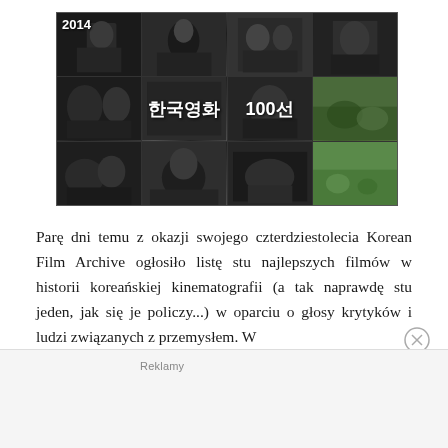[Figure (photo): A 4-column by 3-row grid collage of Korean film stills, mostly black and white with some color. Shows '2014' label in top-left cell, and Korean text '한국영화 100선' overlaid in the middle row.]
Parę dni temu z okazji swojego czterdziestolecia Korean Film Archive ogłosiło listę stu najlepszych filmów w historii koreańskiej kinematografii (a tak naprawdę stu jeden, jak się je policzy...) w oparciu o głosy krytyków i ludzi związanych z przemysłem. W
Reklamy